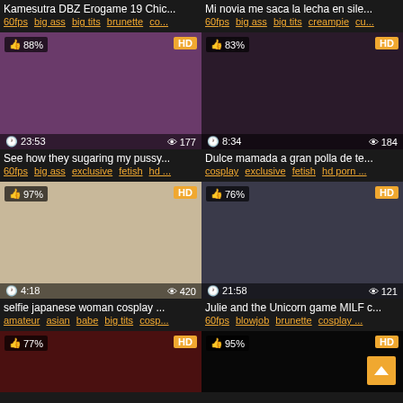Kamesutra DBZ Erogame 19 Chic...
60fps big ass big tits brunette co...
Mi novia me saca la lecha en sile...
60fps big ass big tits creampie cu...
[Figure (photo): Video thumbnail with 88% rating, HD badge, duration 23:53, views 177]
[Figure (photo): Video thumbnail with 83% rating, HD badge, duration 8:34, views 184]
See how they sugaring my pussy...
60fps big ass exclusive fetish hd ...
Dulce mamada a gran polla de te...
cosplay exclusive fetish hd porn ...
[Figure (photo): Video thumbnail collage with 97% rating, HD badge, duration 4:18, views 420]
[Figure (photo): Video thumbnail with 76% rating, HD badge, duration 21:58, views 121]
selfie japanese woman cosplay ...
amateur asian babe big tits cosp...
Julie and the Unicorn game MILF c...
60fps blowjob brunette cosplay ...
[Figure (photo): Video thumbnail with 77% rating, HD badge, partial view]
[Figure (photo): Video thumbnail with 95% rating, HD badge, partial view]